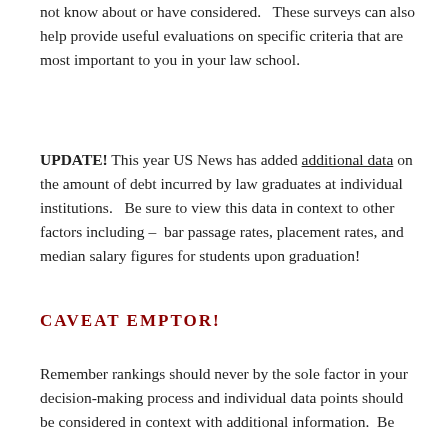not know about or have considered.   These surveys can also help provide useful evaluations on specific criteria that are most important to you in your law school.
UPDATE! This year US News has added additional data on the amount of debt incurred by law graduates at individual institutions.   Be sure to view this data in context to other factors including –  bar passage rates, placement rates, and median salary figures for students upon graduation!
CAVEAT EMPTOR!
Remember rankings should never by the sole factor in your decision-making process and individual data points should be considered in context with additional information.  Be...